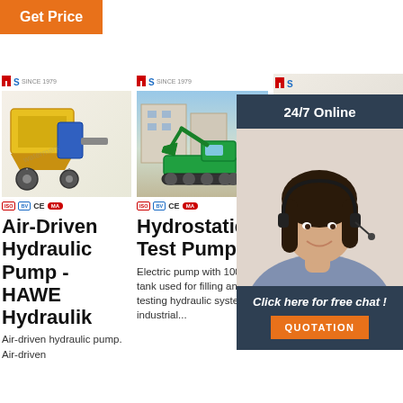Get Price
[Figure (photo): Yellow concrete pump / mortar machine on wheels with brand logo MS SINCE 1979]
[Figure (photo): Green mini excavator on tracks with brand logo MS SINCE 1979, parked outdoors]
[Figure (photo): Customer service representative woman with headset, 24/7 Online chat overlay with QUOTATION button]
Air-Driven Hydraulic Pump - HAWE Hydraulik
Air-driven hydraulic pump. Air-driven
Hydrostatic Test Pumps
Electric pump with 100 litres tank used for filling and testing hydraulic systems in industrial...
Hy... Ha... Foot Pumps Grain... Canada